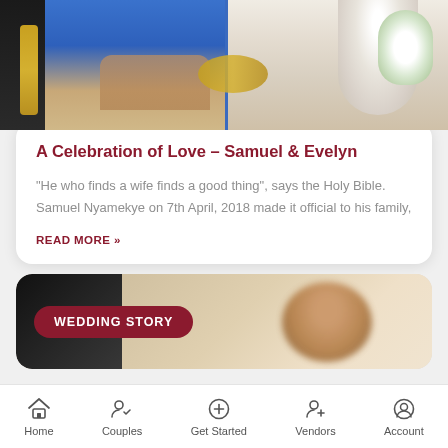[Figure (photo): Wedding photo of a couple — man in blue suit on left, woman in white dress holding bouquet on right, with gold decorative elements in background]
A Celebration of Love – Samuel & Evelyn
“He who finds a wife finds a good thing”, says the Holy Bible. Samuel Nyamekye on 7th April, 2018 made it official to his family,
READ MORE »
[Figure (photo): Wedding story card with dark background on left showing partial figure, and blurred photo of a person on right, with 'WEDDING STORY' badge overlay]
Home   Couples   Get Started   Vendors   Account